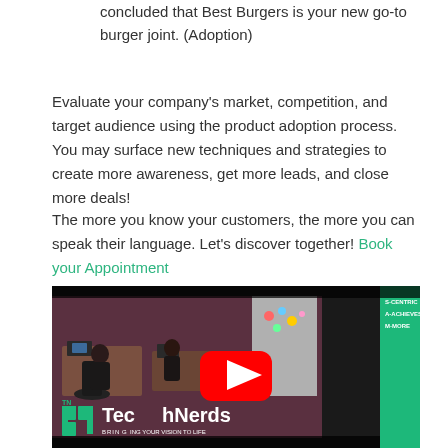concluded that Best Burgers is your new go-to burger joint. (Adoption)
Evaluate your company's market, competition, and target audience using the product adoption process. You may surface new techniques and strategies to create more awareness, get more leads, and close more deals!
The more you know your customers, the more you can speak their language. Let's discover together! Book your Appointment
[Figure (screenshot): YouTube video thumbnail for TechNerds company video showing office workspace with employees working, TN green logo in bottom left, YouTube play button in center, green banner on right side with text. Tagline: BRINGING YOUR VISION TO LIFE]